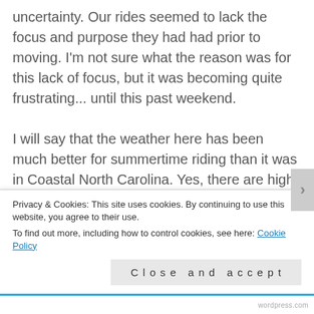uncertainty. Our rides seemed to lack the focus and purpose they had had prior to moving. I'm not sure what the reason was for this lack of focus, but it was becoming quite frustrating... until this past weekend.

I will say that the weather here has been much better for summertime riding than it was in Coastal North Carolina. Yes, there are high temperatures and humidity, but the rain showers are more frequent and with them generally comes lower temperatures and less humidity. I don't feel like I'm constantly trying to catch my breath as if I were breathing through a tiny straw when I ride here! So, we
Privacy & Cookies: This site uses cookies. By continuing to use this website, you agree to their use.
To find out more, including how to control cookies, see here: Cookie Policy
Close and accept